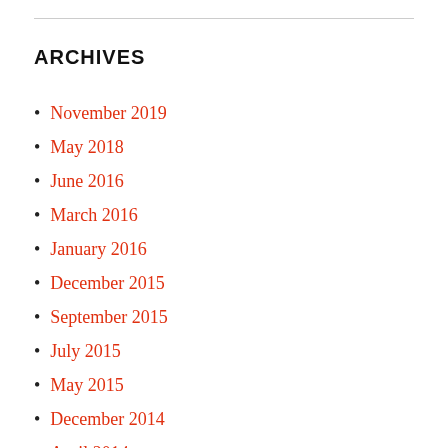ARCHIVES
November 2019
May 2018
June 2016
March 2016
January 2016
December 2015
September 2015
July 2015
May 2015
December 2014
April 2014
November 2013
October 2013